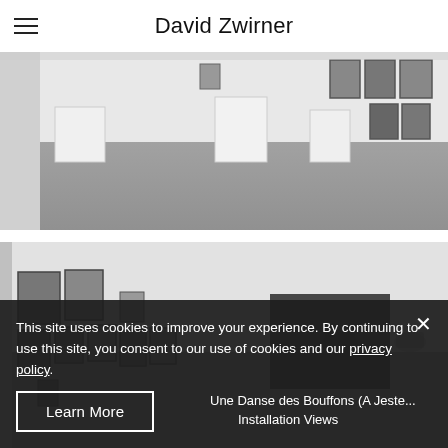David Zwirner
[Figure (photo): Gallery interior, white walls with pedestals and framed artworks hung on wall, black-and-white photo]
[Figure (photo): Gallery interior with framed artworks on left wall and sculptural objects on pedestals, black-and-white photo]
This site uses cookies to improve your experience. By continuing to use this site, you consent to our use of cookies and our privacy policy.
Learn More
Una Danse des Bouffons (A Jeste...
Installation Views